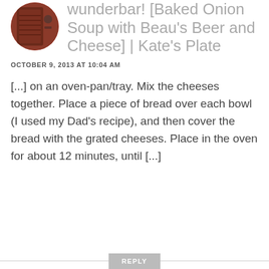[Figure (photo): Circular avatar image showing a brown/reddish decorative object, possibly a vintage radio or book spine]
wunderbar! [Baked Onion Soup with Beau's Beer and Cheese] | Kate's Plate
OCTOBER 9, 2013 AT 10:04 AM
[...] on an oven-pan/tray. Mix the cheeses together. Place a piece of bread over each bowl (I used my Dad’s recipe), and then cover the bread with the grated cheeses. Place in the oven for about 12 minutes, until [...]
REPLY